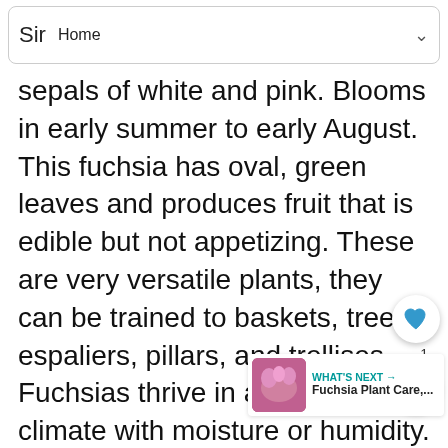Sir  Home
sepals of white and pink. Blooms in early summer to early August. This fuchsia has oval, green leaves and produces fruit that is edible but not appetizing. These are very versatile plants, they can be trained to baskets, trees, espaliers, pillars, and trellises. Fuchsias thrive in a temperate climate with moisture or humidity. Plant east or north of your building. Some sun, filtered or lots of light. Mulch heavily where winters are cold. Prune back dead or broken branches in spring, especially on plants that were left outside in areas with mild winters summer temperatures make Fuchsias a favorite for the Pacific Northwest.
[Figure (other): Heart/like button with count of 1]
[Figure (other): Share button]
WHAT'S NEXT → Fuchsia Plant Care,...